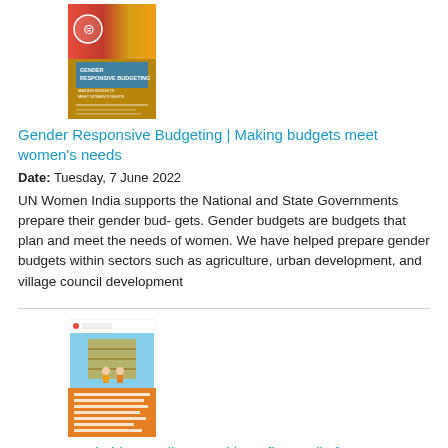[Figure (illustration): Book cover of Gender Responsive Budgeting with colorful graphic design, yellow and red tones with a gender equality symbol]
Gender Responsive Budgeting | Making budgets meet women's needs
Date: Tuesday, 7 June 2022
UN Women India supports the National and State Governments prepare their gender bud- gets. Gender budgets are budgets that plan and meet the needs of women. We have helped prepare gender budgets within sectors such as agriculture, urban development, and village council development
[Figure (illustration): Book cover of Gender Budget Policy with orange and white design showing construction workers]
Women and girls contribute and benefit equally from sustainable